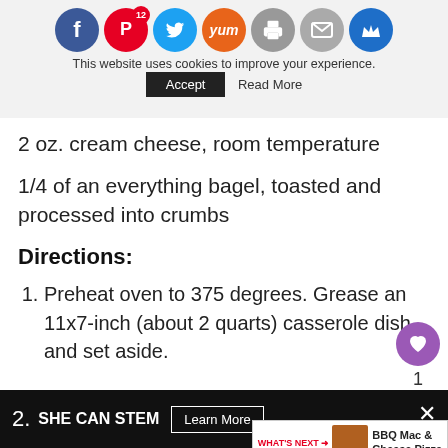[Figure (screenshot): Website header with social sharing icons: Facebook (blue), Pinterest (red, badge 12), Twitter (blue), Yummly (orange), Print (gray), Mail (gray), Crown (blue). Cookie consent banner below: 'This website uses cookies to improve your experience.' with Accept button and Read More link.]
2 oz. cream cheese, room temperature
1/4 of an everything bagel, toasted and processed into crumbs
Directions:
Preheat oven to 375 degrees. Grease an 11x7-inch (about 2 quarts) casserole dish and set aside.
[Figure (screenshot): Bottom advertisement bar: dark background, '2.' number, 'SHE CAN STEM' brand text, 'Learn More' button, close X button and degree symbol on right.]